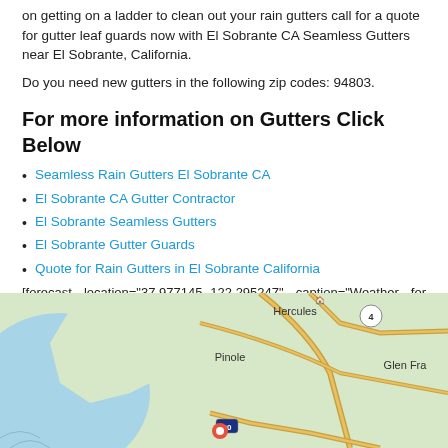on getting on a ladder to clean out your rain gutters call for a quote for gutter leaf guards now with El Sobrante CA Seamless Gutters near El Sobrante, California.
Do you need new gutters in the following zip codes: 94803.
For more information on Gutters Click Below
Seamless Rain Gutters El Sobrante CA
El Sobrante CA Gutter Contractor
El Sobrante Seamless Gutters
El Sobrante Gutter Guards
Quote for Rain Gutters in El Sobrante California
[forecast location="37.977145,-122.295247" caption="Weather for El Sobrante" measurement='F' todaylabel="Today" datelabel="date('m/d/Y')" highlow='%%high%%°/%%low%%°' numdays="5" iconset="Contemporary" class="css_table_class" cache="true" width="100%"]
[Figure (map): Google map showing El Sobrante California area including Hercules, Pinole, Glen Fra(nklyn) with roads and water features visible.]